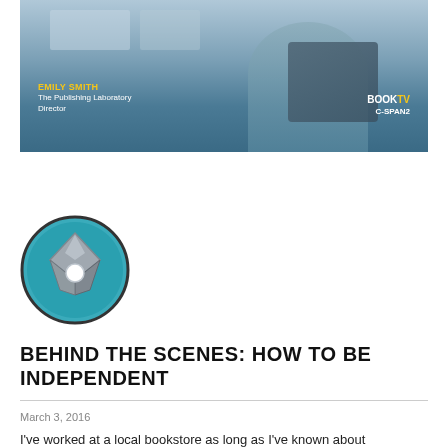[Figure (screenshot): Video screenshot showing a woman in a patterned jacket. Lower-third text overlay shows 'EMILY SMITH / The Publishing Laboratory / Director' in white and yellow text. Upper-right shows 'BOOK TV / C-SPAN2' logo.]
[Figure (logo): Circular logo with teal/blue background featuring a geometric diamond/arrow shape in gray and silver tones with a white circle accent.]
BEHIND THE SCENES: HOW TO BE INDEPENDENT
March 3, 2016
I've worked at a local bookstore as long as I've known about